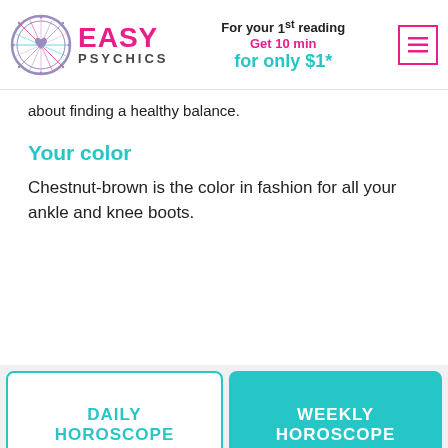Easy Psychics — For your 1st reading Get 10 min for only $1*
about finding a healthy balance.
Your color
Chestnut-brown is the color in fashion for all your ankle and knee boots.
DAILY HOROSCOPE
WEEKLY HOROSCOPE
MONTHLY HOROSCOPE
YEARLY HOROSCOPE